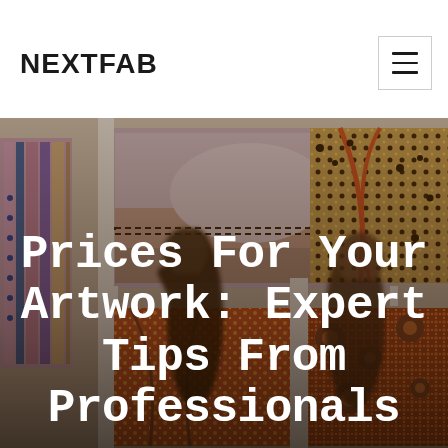NEXTFAB
[Figure (photo): People walking through an art gallery with colorful Aboriginal/Indigenous dot paintings and landscape artworks displayed on white walls. The photo is motion-blurred showing visitors moving past the artworks.]
Prices For Your Artwork: Expert Tips From Professionals